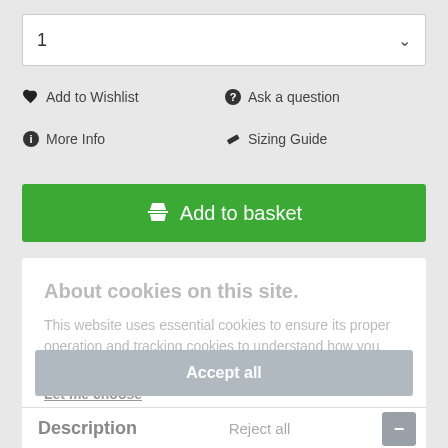1
♥ Add to Wishlist
❓ Ask a question
ℹ More Info
✏ Sizing Guide
🛒 Add to basket
About cookies on this site.
This website uses essential cookies to ensure its proper operation and tracking cookies to understand how you interact with it. The latter will be set only after consent.
Let me choose
Accept all
Description
Reject all